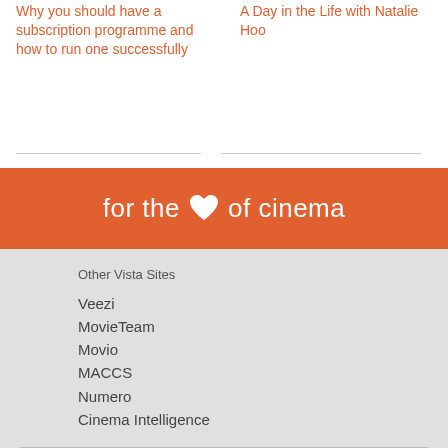Why you should have a subscription programme and how to run one successfully
A Day in the Life with Natalie Hoo
[Figure (other): Orange banner with white text reading 'for the [heart icon] of cinema']
Other Vista Sites
Veezi
MovieTeam
Movio
MACCS
Numero
Cinema Intelligence